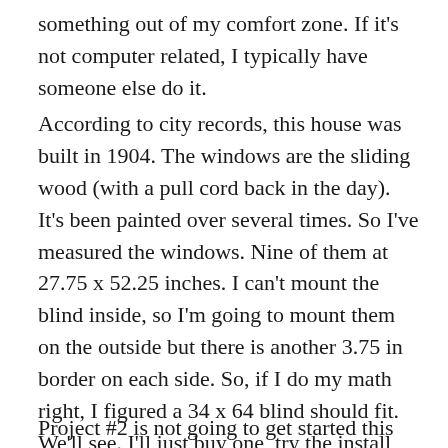something out of my comfort zone. If it's not computer related, I typically have someone else do it.
According to city records, this house was built in 1904. The windows are the sliding wood (with a pull cord back in the day). It's been painted over several times. So I've measured the windows. Nine of them at 27.75 x 52.25 inches. I can't mount the blind inside, so I'm going to mount them on the outside but there is another 3.75 in border on each side. So, if I do my math right, I figured a 34 x 64 blind should fit. We'll see. I'll just buy one, try the install and if it fits and looks right, then go back and get the rest.
Project #2 is not going to get started this weekend